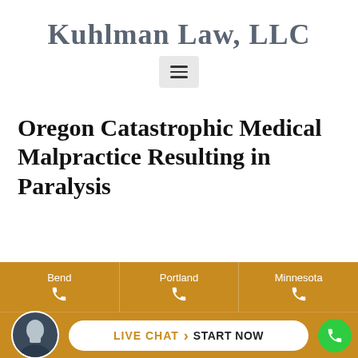Kuhlman Law, LLC
[Figure (other): Hamburger menu icon button with three horizontal lines on a light gray rounded background]
Oregon Catastrophic Medical Malpractice Resulting in Paralysis
[Figure (infographic): Gold/amber bottom bar with three phone contact sections (Bend, Portland, Minnesota) each with a phone icon, plus a chat row with avatar photo, a white pill-shaped Live Chat > Start Now button, and a green phone circle button]